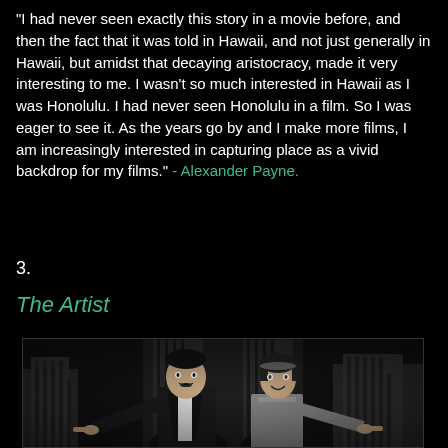"I had never seen exactly this story in a movie before, and then the fact that it was told in Hawaii, and not just generally in Hawaii, but amidst that decaying aristocracy, made it very interesting to me. I wasn't so much interested in Hawaii as I was Honolulu. I had never seen Honolulu in a film. So I was eager to see it. As the years go by and I make more films, I am increasingly interested in capturing place as a vivid backdrop for my films." - Alexander Payne.
3.
The Artist
[Figure (photo): Black and white still from the film The Artist showing a man in a tuxedo and a woman in 1920s dress, both smiling and pointing at the camera, with Art Deco style building facades in the background.]